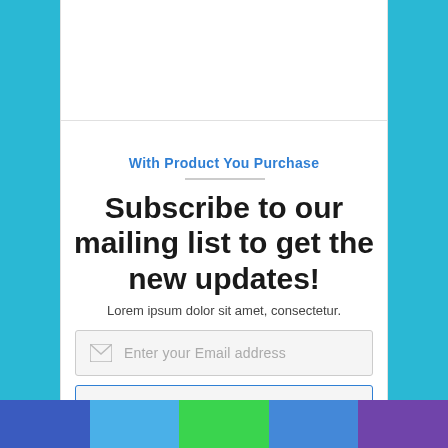With Product You Purchase
Subscribe to our mailing list to get the new updates!
Lorem ipsum dolor sit amet, consectetur.
Enter your Email address
Subscribe